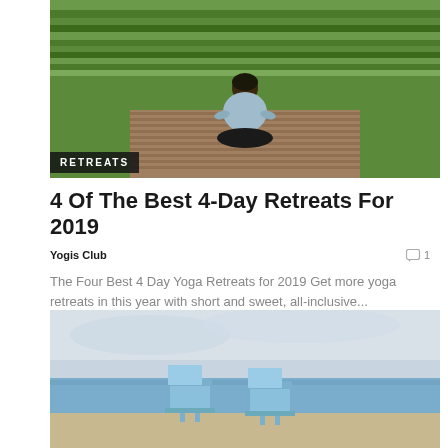[Figure (photo): Person meditating in lotus position on a wooden deck surrounded by green rice fields]
RETREATS
4 Of The Best 4-Day Retreats For 2019
Yogis Club
1
The Four Best 4 Day Yoga Retreats for 2019 Get more yoga retreats in this year with short and sweet, all-inclusive...
[Figure (photo): Two blue Adirondack chairs on a sandy beach facing calm water under a cloudy sky]